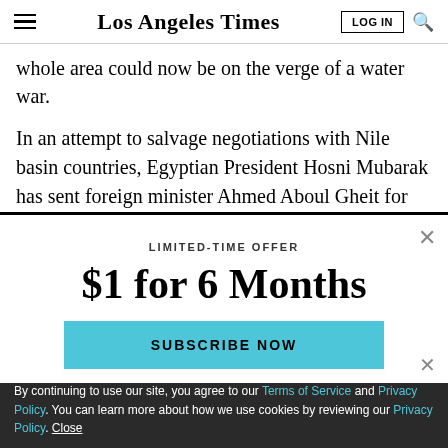Los Angeles Times
whole area could now be on the verge of a water war.
In an attempt to salvage negotiations with Nile basin countries, Egyptian President Hosni Mubarak has sent foreign minister Ahmed Aboul Gheit for private talks
LIMITED-TIME OFFER
$1 for 6 Months
SUBSCRIBE NOW
By continuing to use our site, you agree to our Terms of Service and Privacy Policy. You can learn more about how we use cookies by reviewing our Privacy Policy. Close